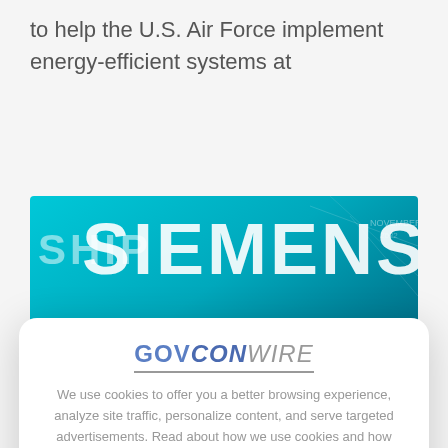to help the U.S. Air Force implement energy-efficient systems at
[Figure (photo): Siemens branded background image with teal color scheme showing two people and large SIEMENS lettering]
We use cookies to offer you a better browsing experience, analyze site traffic, personalize content, and serve targeted advertisements. Read about how we use cookies and how you can control them on our Privacy Policy. If you continue to use this site, you consent to our use of cookies.
E
P
Dolph, President and CEO of Siemens...